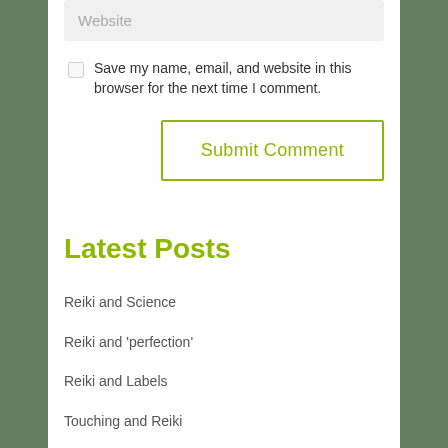Website
Save my name, email, and website in this browser for the next time I comment.
Submit Comment
Latest Posts
Reiki and Science
Reiki and 'perfection'
Reiki and Labels
Touching and Reiki